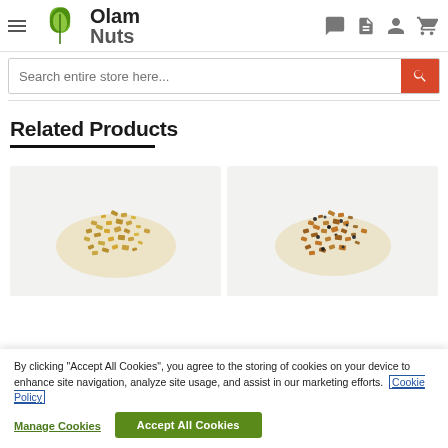[Figure (logo): Olam Nuts logo with green leaf icon and bold text 'Olam Nuts']
[Figure (screenshot): Search bar with text 'Search entire store here...' and orange search button]
Related Products
[Figure (photo): Pile of chopped golden nuts on light gray background]
[Figure (photo): Pile of chopped golden nuts with seeds on light gray background]
By clicking "Accept All Cookies", you agree to the storing of cookies on your device to enhance site navigation, analyze site usage, and assist in our marketing efforts. Cookie Policy
Manage Cookies
Accept All Cookies